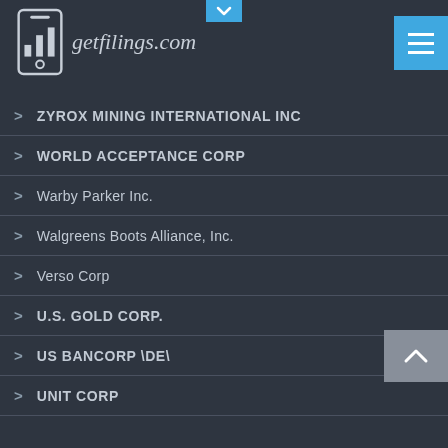[Figure (logo): getfilings.com logo with smartphone icon showing bar chart]
ZYROX MINING INTERNATIONAL INC
WORLD ACCEPTANCE CORP
Warby Parker Inc.
Walgreens Boots Alliance, Inc.
Verso Corp
U.S. GOLD CORP.
US BANCORP \DE\
UNIT CORP